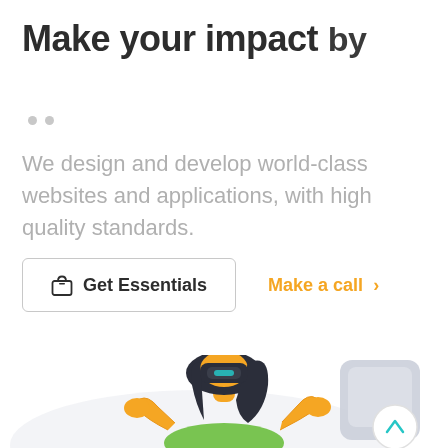Make your impact by
We design and develop world-class websites and applications, with high quality standards.
[Figure (illustration): Two circular dot indicators (pagination dots), grey colored]
[Figure (illustration): A button labeled 'Get Essentials' with a shopping bag icon, bordered box. Next to it an orange link 'Make a call >']
[Figure (illustration): Illustration of a person wearing VR headset with long dark hair, green shirt, orange skin, arms outstretched. Grey smartphone/device shape in background. White circular scroll-up button with teal chevron on right side.]